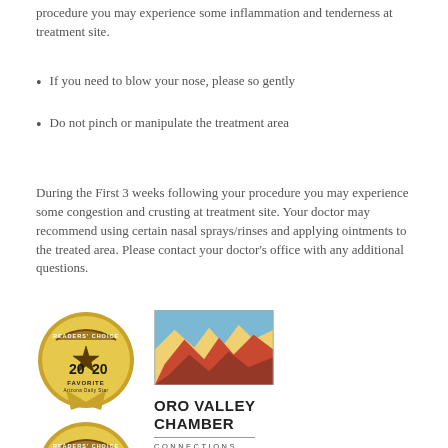procedure you may experience some inflammation and tenderness at treatment site.
If you need to blow your nose, please so gently
Do not pinch or manipulate the treatment area
During the First 3 weeks following your procedure you may experience some congestion and crusting at treatment site. Your doctor may recommend using certain nasal sprays/rinses and applying ointments to the treated area. Please contact your doctor's office with any additional questions.
[Figure (logo): 2020 Readers Choice Favorite Arizona Daily Star badge (gold star/medallion design)]
[Figure (logo): Oro Valley Chamber of Commerce logo with desert mountain illustration in blue, red, yellow]
[Figure (logo): 2019 Readers Choice Favorite Arizona Daily Star badge (gold star/medallion design)]
[Figure (logo): Oro Valley Chamber text logo: ORO VALLEY CHAMBER, CONNECTIONS COMMUNITY COLLABORATION]